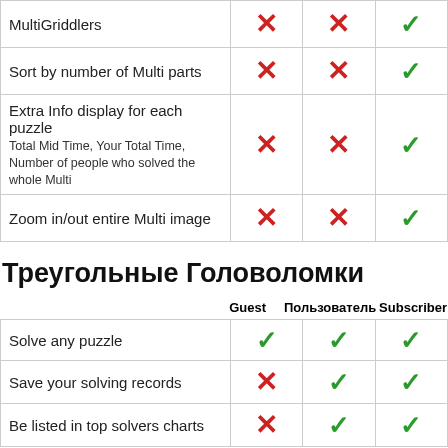| Feature | Guest | Пользователь | Subscriber |
| --- | --- | --- | --- |
| MultiGriddlers | ✗ | ✗ | ✓ |
| Sort by number of Multi parts | ✗ | ✗ | ✓ |
| Extra Info display for each puzzle
Total Mid Time, Your Total Time, Number of people who solved the whole Multi | ✗ | ✗ | ✓ |
| Zoom in/out entire Multi image | ✗ | ✗ | ✓ |
Треугольные Головоломки
| Feature | Guest | Пользователь | Subscriber |
| --- | --- | --- | --- |
| Solve any puzzle | ✓ | ✓ | ✓ |
| Save your solving records | ✗ | ✓ | ✓ |
| Be listed in top solvers charts | ✗ | ✓ | ✓ |